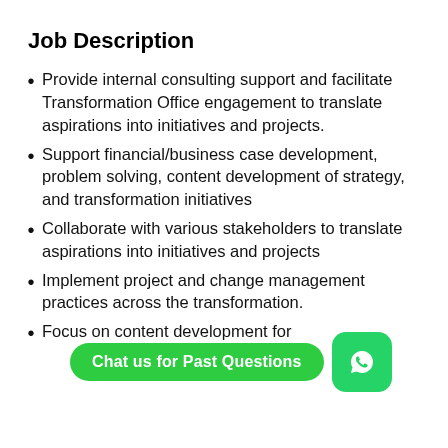Job Description
Provide internal consulting support and facilitate Transformation Office engagement to translate aspirations into initiatives and projects.
Support financial/business case development, problem solving, content development of strategy, and transformation initiatives
Collaborate with various stakeholders to translate aspirations into initiatives and projects
Implement project and change management practices across the transformation.
Focus on content development for